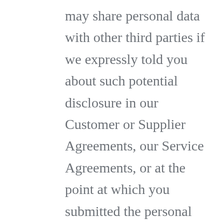may share personal data with other third parties if we expressly told you about such potential disclosure in our Customer or Supplier Agreements, our Service Agreements, or at the point at which you submitted the personal data to us. If you do not